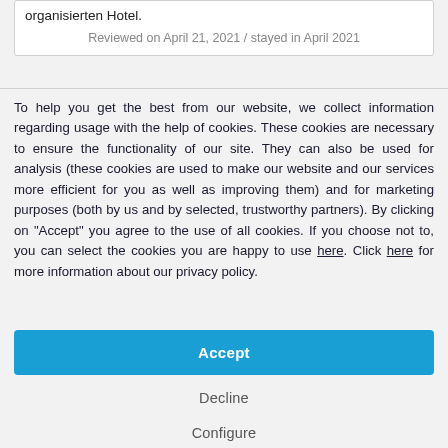organisierten Hotel.
Reviewed on April 21, 2021 / stayed in April 2021
To help you get the best from our website, we collect information regarding usage with the help of cookies. These cookies are necessary to ensure the functionality of our site. They can also be used for analysis (these cookies are used to make our website and our services more efficient for you as well as improving them) and for marketing purposes (both by us and by selected, trustworthy partners). By clicking on "Accept" you agree to the use of all cookies. If you choose not to, you can select the cookies you are happy to use here. Click here for more information about our privacy policy.
Accept
Decline
Configure